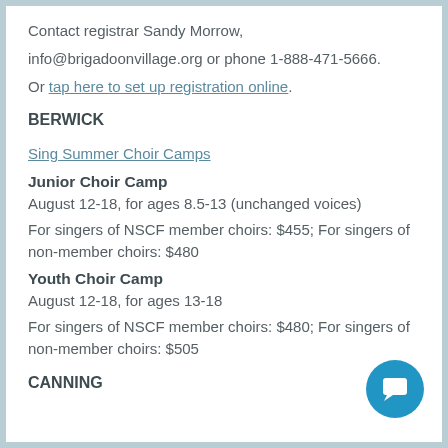Contact registrar Sandy Morrow,
info@brigadoonvillage.org or phone 1-888-471-5666.
Or tap here to set up registration online.
BERWICK
Sing Summer Choir Camps
Junior Choir Camp
August 12-18, for ages 8.5-13 (unchanged voices)
For singers of NSCF member choirs: $455; For singers of non-member choirs: $480
Youth Choir Camp
August 12-18, for ages 13-18
For singers of NSCF member choirs: $480; For singers of non-member choirs: $505
CANNING